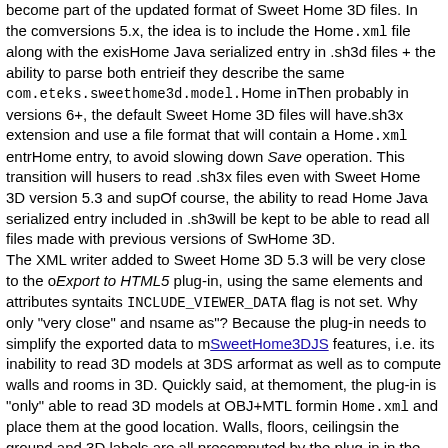become part of the updated format of Sweet Home 3D files. In the coming versions 5.x, the idea is to include the Home.xml file along with the existing Home Java serialized entry in .sh3d files + the ability to parse both entries if they describe the same com.eteks.sweethome3d.model.Home in it. Then probably in versions 6+, the default Sweet Home 3D files will have a .sh3x extension and use a file format that will contain a Home.xml entry no Home entry, to avoid slowing down Save operation. This transition will help users to read .sh3x files even with Sweet Home 3D version 5.3 and superior. Of course, the ability to read Home Java serialized entry included in .sh3d will be kept to be able to read all files made with previous versions of Sweet Home 3D.
The XML writer added to Sweet Home 3D 5.3 will be very close to the one of Export to HTML5 plug-in, using the same elements and attributes syntax when its INCLUDE_VIEWER_DATA flag is not set. Why only "very close" and not "the same as"? Because the plug-in needs to simplify the exported data to match SweetHome3DJS features, i.e. its inability to read 3D models at 3DS and OBJ format as well as to compute walls and rooms in 3D. Quickly said, at the moment, the plug-in is "only" able to read 3D models at OBJ+MTL format described in Home.xml and place them at the good location. Walls, floors, ceilings in the ground and 3D labels are all precomputed by the plug-in in the HomeStructure/Home.obj entry which is displayed as one 3D object by SweetHome3DJS. This structure file and exporting only in OBJ format is not needed in Sweet Home 3D itself, that's why its XML writer will not perform these operations but will keep the same XML syntax, except for the structure attribute of the home.
From the various tests I run with Blender, it seems that Blender supports OBJ+MTL format than 3DS and DAE formats (but maybe it was improved recently). Blender is of course unable to compute in 3D the walls and...